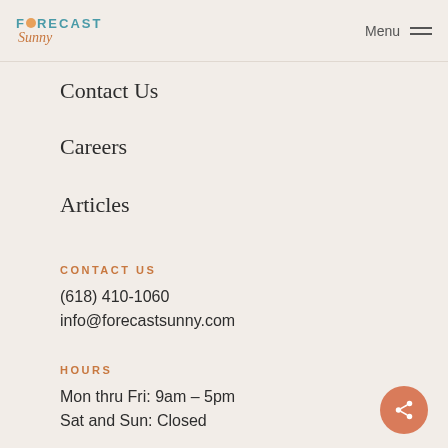Forecast Sunny — Menu
Contact Us
Careers
Articles
CONTACT US
(618) 410-1060
info@forecastsunny.com
HOURS
Mon thru Fri: 9am – 5pm
Sat and Sun: Closed